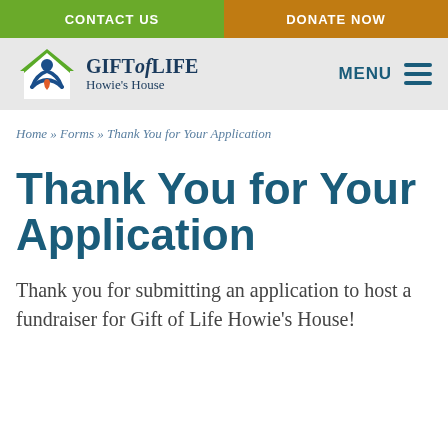CONTACT US | DONATE NOW
[Figure (logo): Gift of Life Howie's House logo with house icon and figures]
Home » Forms » Thank You for Your Application
Thank You for Your Application
Thank you for submitting an application to host a fundraiser for Gift of Life Howie's House!